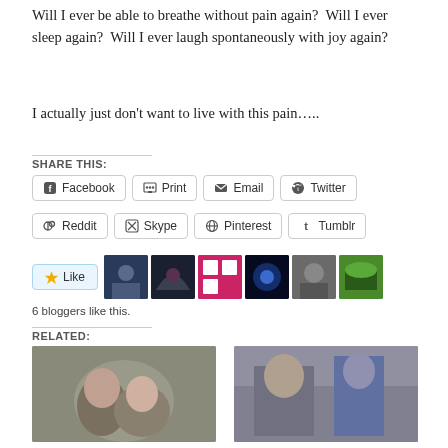Will I ever be able to breathe without pain again?  Will I ever sleep again?  Will I ever laugh spontaneously with joy again?
I actually just don't want to live with this pain…..
SHARE THIS:
Facebook  Print  Email  Twitter  Reddit  Skype  Pinterest  Tumblr
[Figure (other): Like button and 6 blogger avatar thumbnails]
6 bloggers like this.
RELATED:
[Figure (photo): Two related article thumbnail photos]